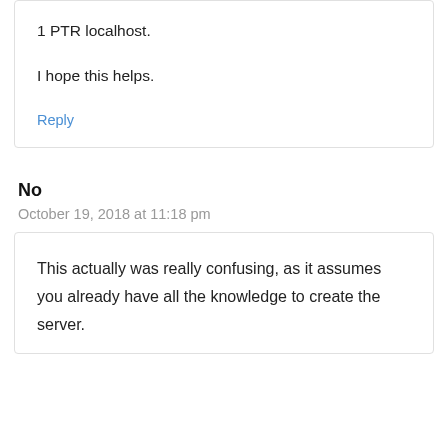1 PTR localhost.
I hope this helps.
Reply
No
October 19, 2018 at 11:18 pm
This actually was really confusing, as it assumes you already have all the knowledge to create the server.